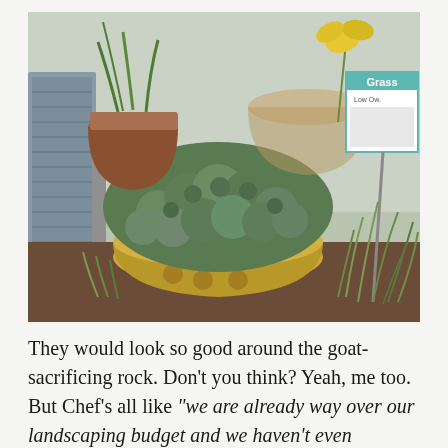[Figure (photo): Outdoor garden scene showing a large yellow glazed ceramic bowl planter filled with dense succulent plants with round green leaves. Behind it are terracotta pots with other plants, a yellow flowering plant, and a nursery sign reading 'Grass'. On the left is an HVAC unit. On the right are ornamental grasses. The ground is dark brown soil/concrete.]
They would look so good around the goat-sacrificing rock. Don't you think? Yeah, me too. But Chef's all like "we are already way over our landscaping budget and we haven't even ordered...